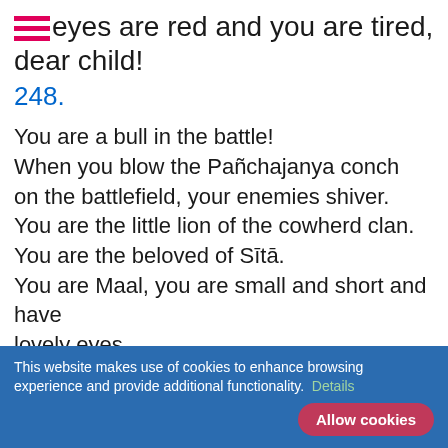Your eyes are red and you are tired, dear child!
248.
You are a bull in the battle!
When you blow the Pañchajanya conch
on the battlefield, your enemies shiver.
You are the little lion of the cowherd clan.
You are the beloved of Sītā.
You are Maal, you are small and short and have lovely eyes.
You left your clothes and a small sword on your bed
and went to graze the cows with other cowherds.
It seems you have returned with them.
249
This website makes use of cookies to enhance browsing experience and provide additional functionality. Details Allow cookies